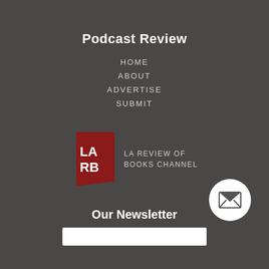Podcast Review
HOME
ABOUT
ADVERTISE
SUBMIT
[Figure (logo): LA Review of Books Channel logo — red quadrilateral with white 'LA RB' text, followed by 'LA REVIEW OF BOOKS CHANNEL' in grey text]
[Figure (illustration): White circle with envelope/mail icon inside]
Our Newsletter